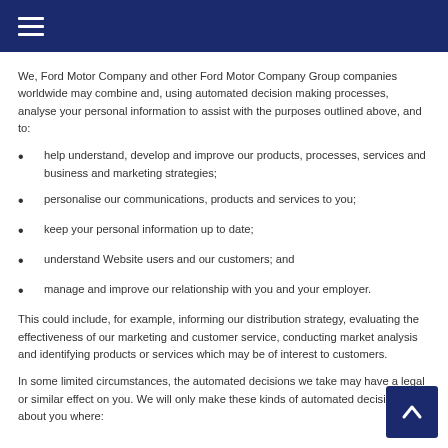We, Ford Motor Company and other Ford Motor Company Group companies worldwide may combine and, using automated decision making processes, analyse your personal information to assist with the purposes outlined above, and to:
help understand, develop and improve our products, processes, services and business and marketing strategies;
personalise our communications, products and services to you;
keep your personal information up to date;
understand Website users and our customers; and
manage and improve our relationship with you and your employer.
This could include, for example, informing our distribution strategy, evaluating the effectiveness of our marketing and customer service, conducting market analysis and identifying products or services which may be of interest to customers.
In some limited circumstances, the automated decisions we take may have a legal or similar effect on you. We will only make these kinds of automated decisions about you where: